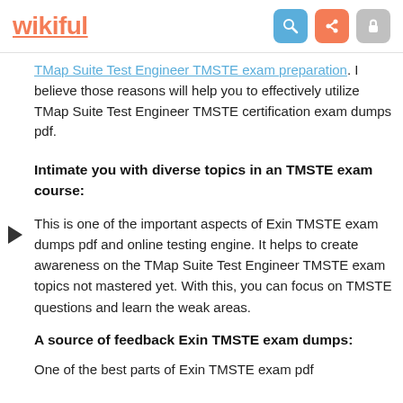wikiful
TMap Suite Test Engineer TMSTE exam preparation. I believe those reasons will help you to effectively utilize TMap Suite Test Engineer TMSTE certification exam dumps pdf.
Intimate you with diverse topics in an TMSTE exam course:
This is one of the important aspects of Exin TMSTE exam dumps pdf and online testing engine. It helps to create awareness on the TMap Suite Test Engineer TMSTE exam topics not mastered yet. With this, you can focus on TMSTE questions and learn the weak areas.
A source of feedback Exin TMSTE exam dumps:
One of the best parts of Exin TMSTE exam pdf